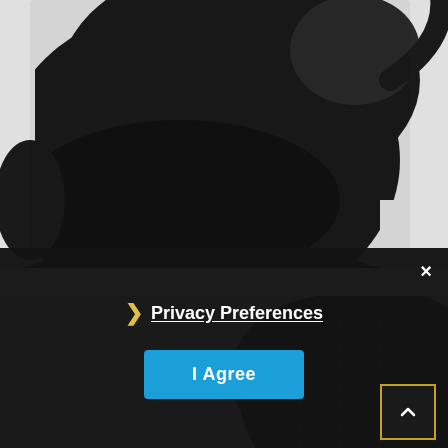[Figure (photo): Close-up of a black fabric face mask on a light grey background, showing the lower portion with ear loops visible]
[Figure (photo): Second product image of the same black face mask, partially visible, on a grey background]
×
❯ Privacy Preferences
I Agree